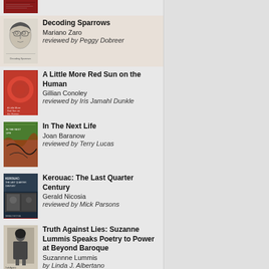[Figure (photo): Partial book cover, cropped at top of page, dark red/maroon cover]
Decoding Sparrows
Mariano Zaro
reviewed by Peggy Dobreer
A Little More Red Sun on the Human
Gillian Conoley
reviewed by Iris Jamahl Dunkle
In The Next Life
Joan Baranow
reviewed by Terry Lucas
Kerouac: The Last Quarter Century
Gerald Nicosia
reviewed by Mick Parsons
Truth Against Lies: Suzanne Lummis Speaks Poetry to Power at Beyond Baroque
Suzannne Lummis
by Linda J. Albertano